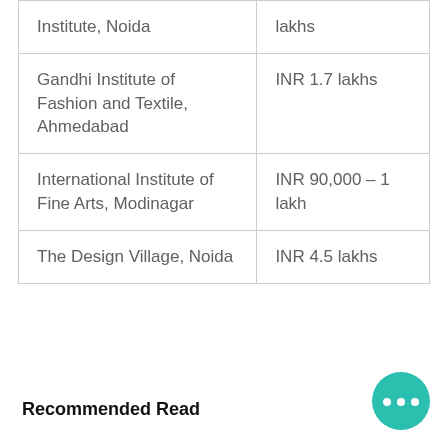| Institute | Fee |
| --- | --- |
| Institute, Noida | lakhs |
| Gandhi Institute of Fashion and Textile, Ahmedabad | INR 1.7 lakhs |
| International Institute of Fine Arts, Modinagar | INR 90,000 – 1 lakh |
| The Design Village, Noida | INR 4.5 lakhs |
Recommended Read